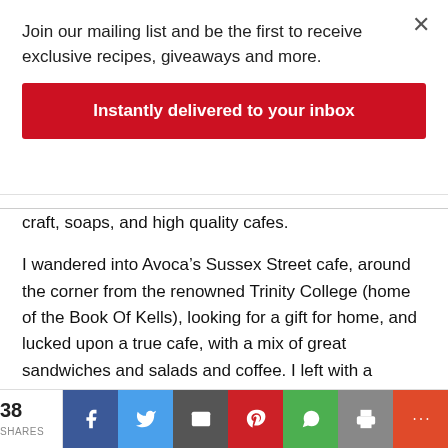Join our mailing list and be the first to receive exclusive recipes, giveaways and more.
Instantly delivered to your inbox
craft, soaps, and high quality cafes.
I wandered into Avoca’s Sussex Street cafe, around the corner from the renowned Trinity College (home of the Book Of Kells), looking for a gift for home, and lucked upon a true cafe, with a mix of great sandwiches and salads and coffee. I left with a cookbook, a full tummy and no gifts. The cookbook provided the basis of the marinade for a bunch of chicken breasts, and the marinade gets much of its guts from a decent dose of honey and a swag of
38 SHARES